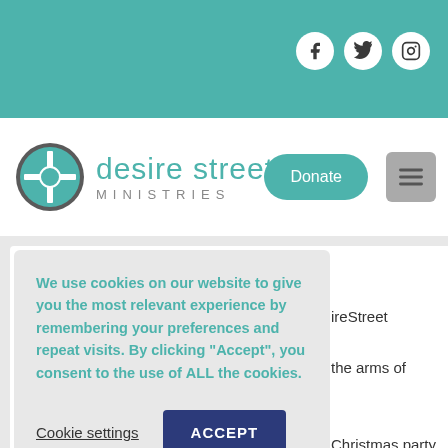[Figure (logo): Desire Street Ministries logo with circular cross emblem and teal text]
[Figure (screenshot): Social media icons for Facebook, Twitter, Instagram on teal header bar]
Donate
We use cookies on our website to give you the most relevant experience by remembering your preferences and repeat visits. By clicking “Accept”, you consent to the use of ALL the cookies.
Cookie settings
ACCEPT
ireStreet
the arms of
Christmas party
sizes and the